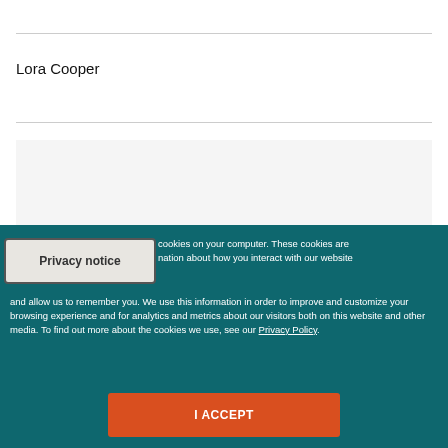Lora Cooper
Upcoming Events
Privacy notice
cookies on your computer. These cookies are nation about how you interact with our website and allow us to remember you. We use this information in order to improve and customize your browsing experience and for analytics and metrics about our visitors both on this website and other media. To find out more about the cookies we use, see our Privacy Policy.
I ACCEPT